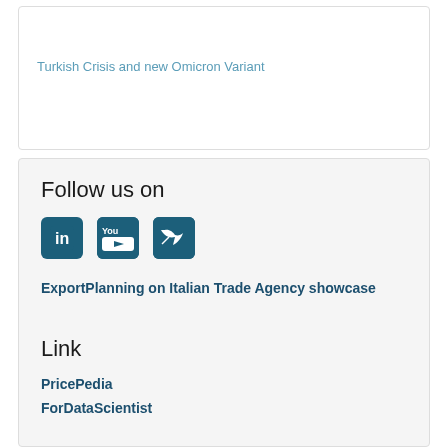Turkish Crisis and new Omicron Variant
Follow us on
[Figure (illustration): Social media icons: LinkedIn, YouTube, Twitter]
ExportPlanning on Italian Trade Agency showcase
Link
PricePedia
ForDataScientist